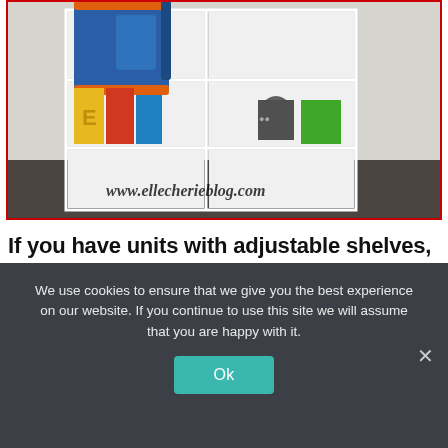[Figure (photo): Photo of a white cubby/shelf unit with a blue and orange backpack hanging, school books and supplies on shelves, dark floor, with watermark 'www.ellecherieblog.com']
If you have units with adjustable shelves, this is an easy way to make room for coats, backpacks, books, and more. Remove a couple of shelves and leave a taller sized...
We use cookies to ensure that we give you the best experience on our website. If you continue to use this site we will assume that you are happy with it.